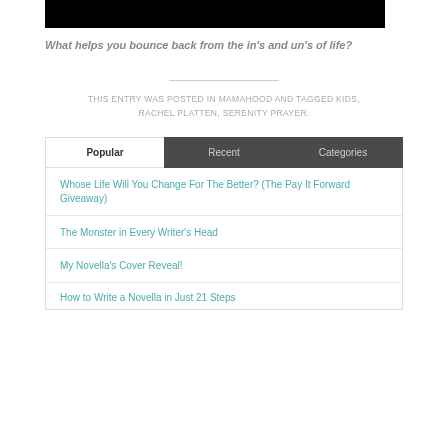[Figure (other): Black rectangular image/video placeholder at top]
What helps you bounce back from the in's and un's of life?
THIS ENTRY WAS POSTED IN MAMAHOOD AND TAGGED KIDS, RACHEL PLATTEN, SERENITY PRAYER.
Popular | Recent | Categories (tab bar)
Whose Life Will You Change For The Better? (The Pay It Forward Giveaway)
The Monster in Every Writer's Head
My Novella's Cover Reveal!
How to Write a Novella in Just 21 Steps